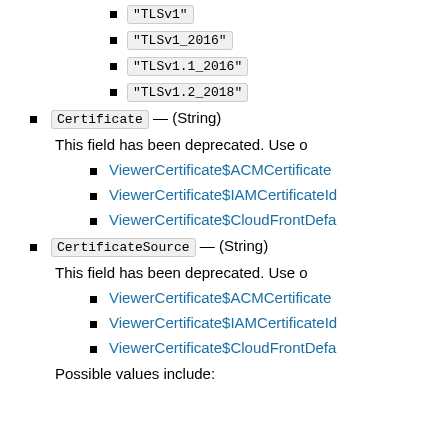"TLSv1"
"TLSv1_2016"
"TLSv1.1_2016"
"TLSv1.2_2018"
Certificate — (String)
This field has been deprecated. Use o
ViewerCertificate$ACMCertificate
ViewerCertificate$IAMCertificateId
ViewerCertificate$CloudFrontDefault
CertificateSource — (String)
This field has been deprecated. Use o
ViewerCertificate$ACMCertificate
ViewerCertificate$IAMCertificateId
ViewerCertificate$CloudFrontDefault
Possible values include: